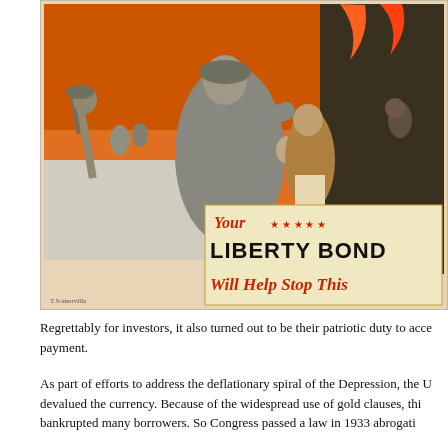[Figure (illustration): WWI-era Liberty Bond propaganda poster showing soldiers in battle, with a soldier carrying a wounded comrade in gray tones against an orange sky. In the lower right, a cream-colored banner reads 'Your LIBERTY BOND Will Help Stop This' in red and black text with red stars.]
Regrettably for investors, it also turned out to be their patriotic duty to accept payment.
As part of efforts to address the deflationary spiral of the Depression, the U devalued the currency. Because of the widespread use of gold clauses, thi bankrupted many borrowers. So Congress passed a law in 1933 abrogatin